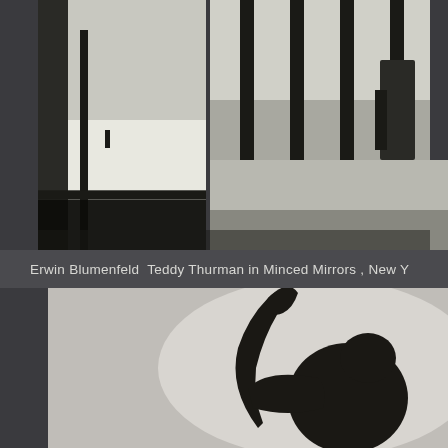[Figure (photo): Black and white photo strip showing two sections: left section shows an outdoor scene with a person in distance near a building/fence structure; right section shows vertical bars/pillars with figures visible through them, possibly a gate or industrial structure. Both images are high contrast monochrome photography.]
Erwin Blumenfeld  Teddy Thurman in Minced Mirrors , New Y
[Figure (photo): Large black and white photograph showing a dark silhouette of a person's upper body and raised arm against a lighter grey background, creating a dramatic shadow/silhouette effect. The figure appears to be posing with one arm raised upward.]